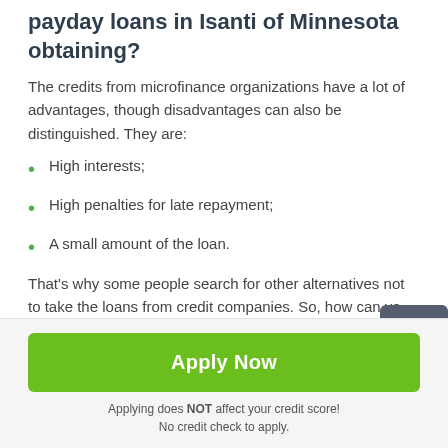payday loans in Isanti of Minnesota obtaining?
The credits from microfinance organizations have a lot of advantages, though disadvantages can also be distinguished. They are:
High interests;
High penalties for late repayment;
A small amount of the loan.
That's why some people search for other alternatives not to take the loans from credit companies. So, how can you avoid a payday loan obtaining?
Try to economize;
Apply Now
Applying does NOT affect your credit score!
No credit check to apply.